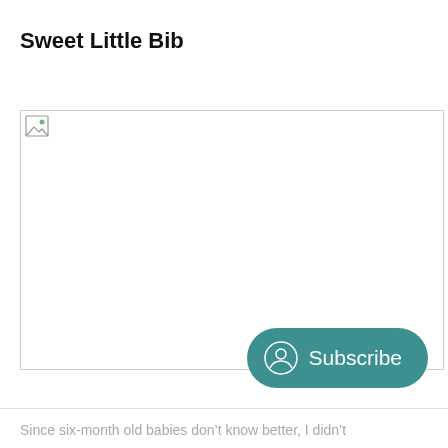Sweet Little Bib
[Figure (photo): Broken image placeholder with border]
[Figure (other): Subscribe button with person/account icon]
Since six-month old babies don’t know better, I didn’t